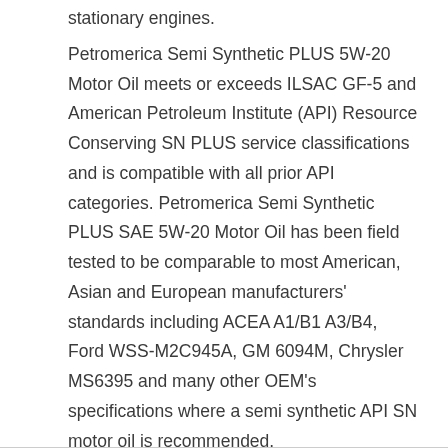stationary engines.
Petromerica Semi Synthetic PLUS 5W-20 Motor Oil meets or exceeds ILSAC GF-5 and American Petroleum Institute (API) Resource Conserving SN PLUS service classifications and is compatible with all prior API categories. Petromerica Semi Synthetic PLUS SAE 5W-20 Motor Oil has been field tested to be comparable to most American, Asian and European manufacturers' standards including ACEA A1/B1 A3/B4, Ford WSS-M2C945A, GM 6094M, Chrysler MS6395 and many other OEM's specifications where a semi synthetic API SN motor oil is recommended.
Always check your owner's manual for proper service recommendations.